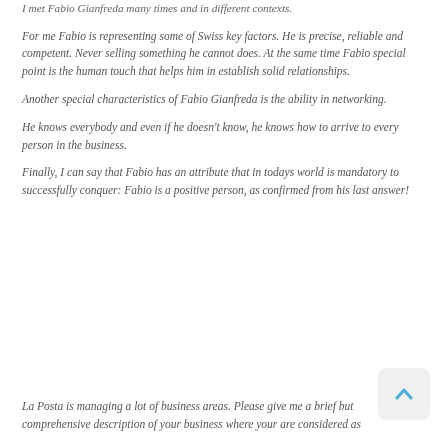I met Fabio Gianfreda many times and in different contexts.
For me Fabio is representing some of Swiss key factors. He is precise, reliable and competent. Never selling something he cannot does. At the same time Fabio special point is the human touch that helps him in establish solid relationships.
Another special characteristics of Fabio Gianfreda is the ability in networking.
He knows everybody and even if he doesn't know, he knows how to arrive to every person in the business.
Finally, I can say that Fabio has an attribute that in todays world is mandatory to successfully conquer: Fabio is a positive person, as confirmed from his last answer!
La Posta is managing a lot of business areas. Please give me a brief but comprehensive description of your business where your are considered as